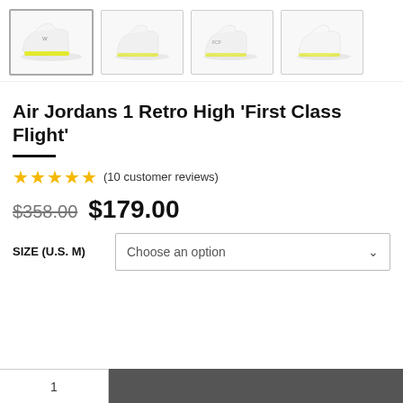[Figure (photo): Product thumbnail gallery showing four views of the Air Jordan 1 Retro High 'First Class Flight' sneaker — white and yellow colorway. First image is highlighted/active with a border.]
Air Jordans 1 Retro High 'First Class Flight'
(10 customer reviews)
$358.00  $179.00
SIZE (U.S. M)   Choose an option